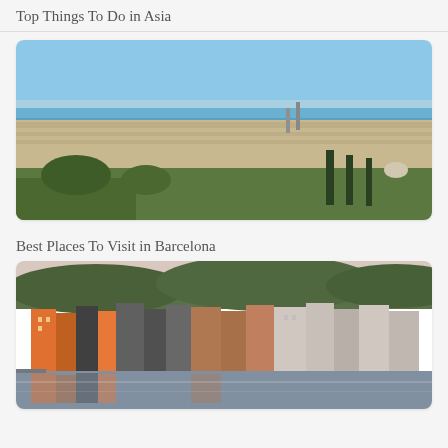Top Things To Do in Asia
[Figure (photo): Aerial panoramic view of Barcelona city with Mediterranean Sea in the background, showing dense urban landscape with green trees in foreground]
Best Places To Visit in Barcelona
[Figure (photo): Waterfront view of colorful European townhouses reflected in a calm river, with green forested hills in the background]